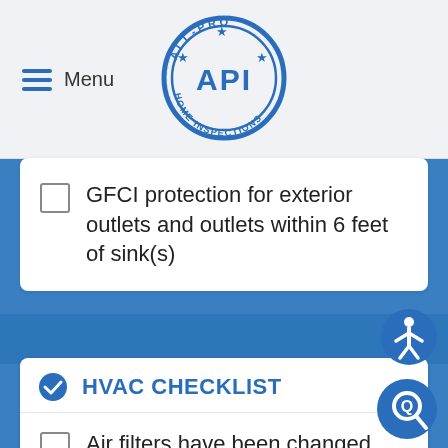[Figure (logo): All-Pro API Home Inspections circular stamp logo in blue]
GFCI protection for exterior outlets and outlets within 6 feet of sink(s)
HVAC CHECKLIST
Air filters have been changed recently